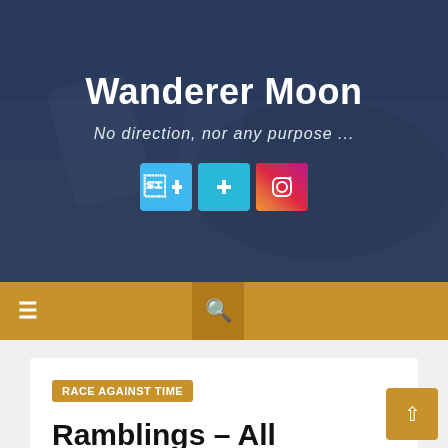[Figure (screenshot): Hero section of 'Wanderer Moon' blog website with dark blue overlay over a background photo of books/travel items on a beach. Shows site title, tagline, and social media icon buttons.]
Wanderer Moon
No direction, nor any purpose ...
[Figure (screenshot): Golden/amber navigation bar with hamburger menu icon on left and search button in center]
[Figure (screenshot): White post card showing category badge 'RACE AGAINST TIME' and post title beginning 'Ramblings – All']
RACE AGAINST TIME
Ramblings – All